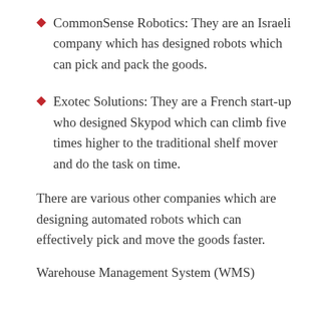CommonSense Robotics: They are an Israeli company which has designed robots which can pick and pack the goods.
Exotec Solutions: They are a French start-up who designed Skypod which can climb five times higher to the traditional shelf mover and do the task on time.
There are various other companies which are designing automated robots which can effectively pick and move the goods faster.
Warehouse Management System (WMS)